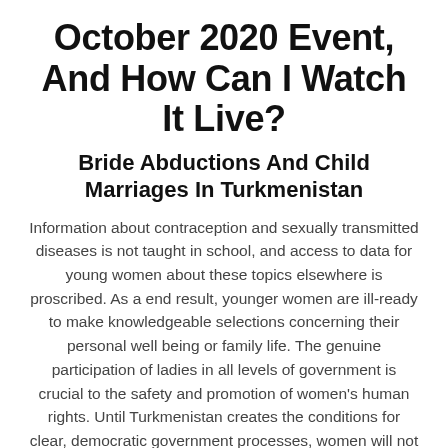October 2020 Event, And How Can I Watch It Live?
Bride Abductions And Child Marriages In Turkmenistan
Information about contraception and sexually transmitted diseases is not taught in school, and access to data for young women about these topics elsewhere is proscribed. As a end result, younger women are ill-ready to make knowledgeable selections concerning their personal well being or family life. The genuine participation of ladies in all levels of government is crucial to the safety and promotion of women's human rights. Until Turkmenistan creates the conditions for clear, democratic government processes, women will not be ensured the right to truly participate in political life. In apply, the right to participate in political life in